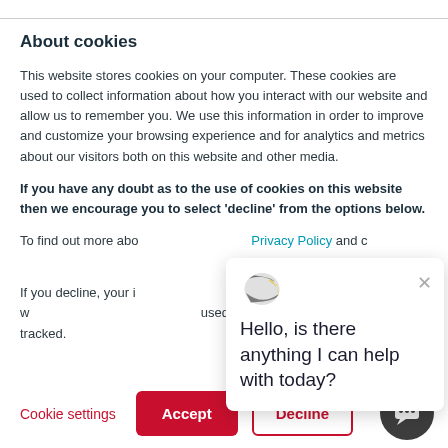About cookies
This website stores cookies on your computer. These cookies are used to collect information about how you interact with our website and allow us to remember you. We use this information in order to improve and customize your browsing experience and for analytics and metrics about our visitors both on this website and other media.
If you have any doubt as to the use of cookies on this website then we encourage you to select 'decline' from the options below.
To find out more about cookies, see our Privacy Policy and c…
If you decline, your i… when you visit this w… used in your browse… not to be tracked.
[Figure (screenshot): Chat popup overlay with logo and message: Hello, is there anything I can help with today?]
Cookie settings | Accept | Decline